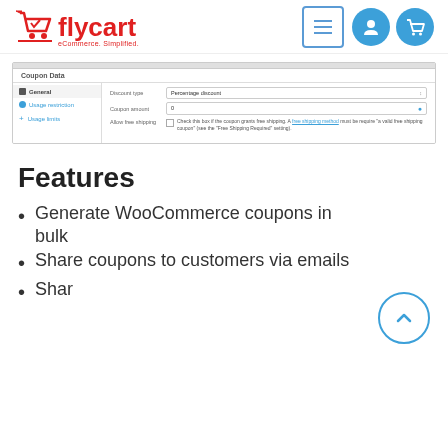[Figure (logo): Flycart logo with shopping cart icon and tagline 'eCommerce. Simplified.']
[Figure (screenshot): WooCommerce Coupon Data admin panel showing General tab with Discount type (Percentage discount), Coupon amount (0), and Allow free shipping fields]
Features
Generate WooCommerce coupons in bulk
Share coupons to customers via emails